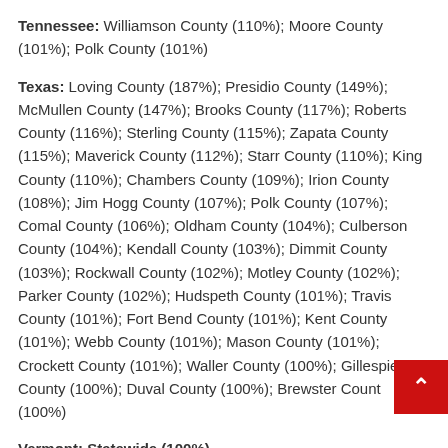Tennessee: Williamson County (110%); Moore County (101%); Polk County (101%)
Texas: Loving County (187%); Presidio County (149%); McMullen County (147%); Brooks County (117%); Roberts County (116%); Sterling County (115%); Zapata County (115%); Maverick County (112%); Starr County (110%); King County (110%); Chambers County (109%); Irion County (108%); Jim Hogg County (107%); Polk County (107%); Comal County (106%); Oldham County (104%); Culberson County (104%); Kendall County (103%); Dimmit County (103%); Rockwall County (102%); Motley County (102%); Parker County (102%); Hudspeth County (101%); Travis County (101%); Fort Bend County (101%); Kent County (101%); Webb County (101%); Mason County (101%); Crockett County (101%); Waller County (100%); Gillespie County (100%); Duval County (100%); Brewster County (100%)
Vermont: Statewide (100%)